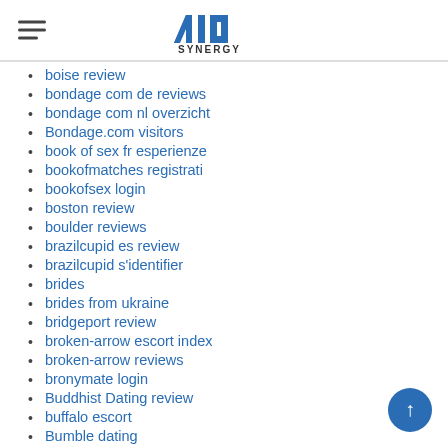AIO SYNERGY
boise review
bondage com de reviews
bondage com nl overzicht
Bondage.com visitors
book of sex fr esperienze
bookofmatches registrati
bookofsex login
boston review
boulder reviews
brazilcupid es review
brazilcupid s'identifier
brides
brides from ukraine
bridgeport review
broken-arrow escort index
broken-arrow reviews
bronymate login
Buddhist Dating review
buffalo escort
Bumble dating